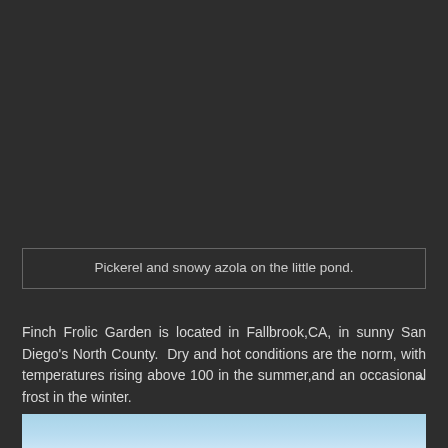[Figure (photo): Dark background occupying the upper portion of the page, appears to be a dark image or background area.]
Pickerel and snowy azola on the little pond.
Finch Frolic Garden is located in Fallbrook,CA, in sunny San Diego's North County. Dry and hot conditions are the norm, with temperatures rising above 100 in the summer,and an occasional frost in the winter.
[Figure (photo): Bottom portion of a photo showing a light blue sky with some clouds, partially visible at the bottom of the page.]